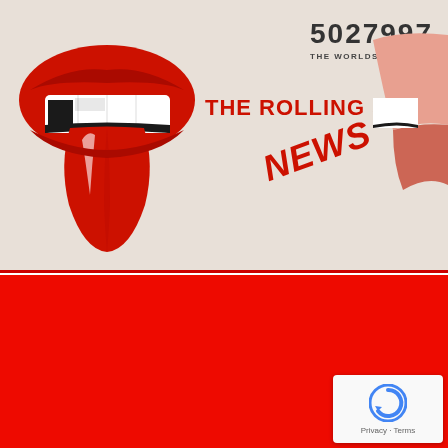[Figure (logo): Rolling Stones tongue and lips logo on the left side of header]
THE ROLLING STONES
5027997
THE WORLDS GREATEST ROCK'N'ROLL BAND
NEWS
[Figure (illustration): Partial Rolling Stones tongue logo on the right edge of header]
[Figure (photo): Large solid red content area below the header]
[Figure (other): reCAPTCHA badge with Privacy and Terms links in bottom right corner]